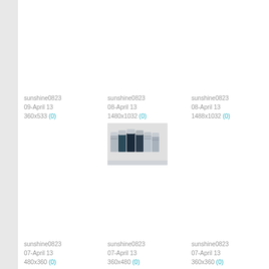sunshine0823
09-April 13
360x533 (0)
sunshine0823
08-April 13
1480x1032 (0)
[Figure (photo): Group photo of several young women in casual striped and dark clothing]
sunshine0823
08-April 13
1488x1032 (0)
sunshine0823
07-April 13
480x360 (0)
sunshine0823
07-April 13
360x480 (0)
sunshine0823
07-April 13
360x360 (0)